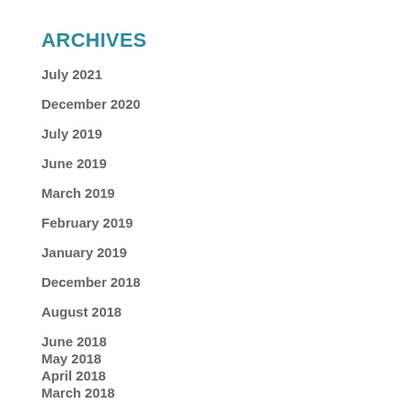ARCHIVES
July 2021
December 2020
July 2019
June 2019
March 2019
February 2019
January 2019
December 2018
August 2018
June 2018
May 2018
April 2018
March 2018